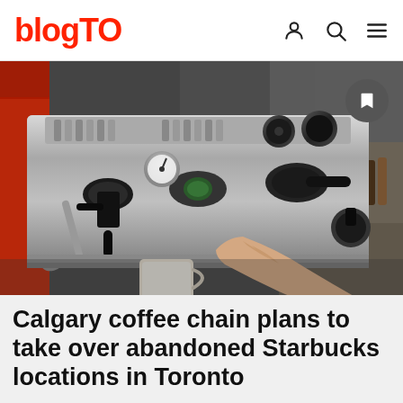blogTO
[Figure (photo): Close-up photo of a commercial espresso machine with a barista's hand reaching toward a coffee cup underneath the portafilter. The machine is stainless steel with multiple knobs and gauges, set in a cafe environment with bottles and jars visible in the background.]
Calgary coffee chain plans to take over abandoned Starbucks locations in Toronto